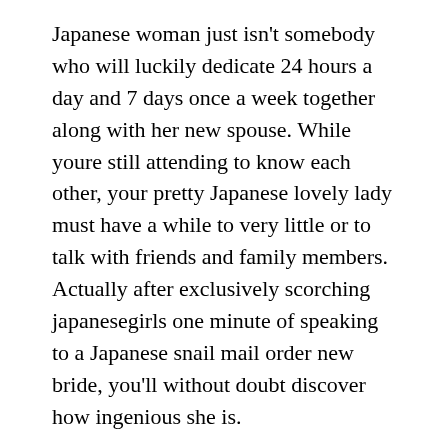Japanese woman just isn't somebody who will luckily dedicate 24 hours a day and 7 days once a week together along with her new spouse. While youre still attending to know each other, your pretty Japanese lovely lady must have a while to very little or to talk with friends and family members. Actually after exclusively scorching japanesegirls one minute of speaking to a Japanese snail mail order new bride, you'll without doubt discover how ingenious she is.
You will connect with 1000's of which, while your coronary heart might beat more quickly and faster. In case you are ready for brand fresh new ability flows and love activities, meet the girls inside the AsianBeautyOnline. It implies